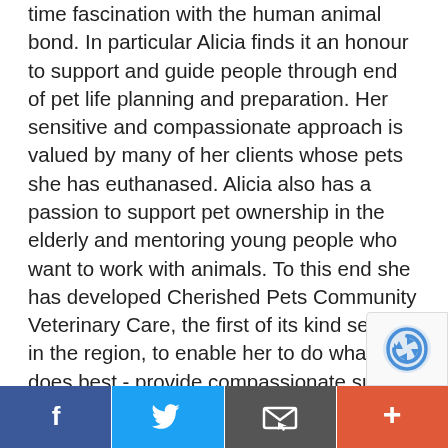time fascination with the human animal bond. In particular Alicia finds it an honour to support and guide people through end of pet life planning and preparation. Her sensitive and compassionate approach is valued by many of her clients whose pets she has euthanased. Alicia also has a passion to support pet ownership in the elderly and mentoring young people who want to work with animals. To this end she has developed Cherished Pets Community Veterinary Care, the first of its kind service in the region, to enable her to do what she does best - provide compassionate support and guidance through all stages of pet ownership and help the human animal bond flourish in to its potential. Alicia lives on the Bellarine with three daughters and her husb
[Figure (other): reCAPTCHA badge icon in bottom-right corner]